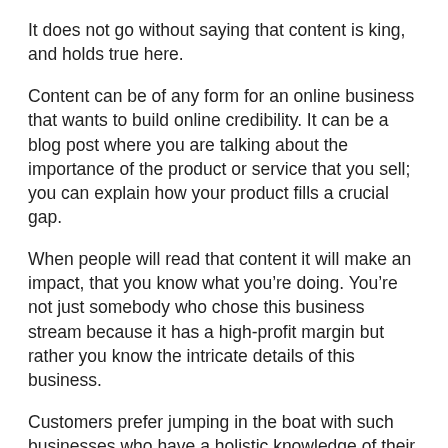It does not go without saying that content is king, and holds true here.
Content can be of any form for an online business that wants to build online credibility. It can be a blog post where you are talking about the importance of the product or service that you sell; you can explain how your product fills a crucial gap.
When people will read that content it will make an impact, that you know what you’re doing. You’re not just somebody who chose this business stream because it has a high-profit margin but rather you know the intricate details of this business.
Customers prefer jumping in the boat with such businesses who have a holistic knowledge of their industry.
I mean why would people hire Gary Vaynerchuk for their Social Media Branding? It’s because he knows what he is doing. Why would I say that? Because I too like everyone